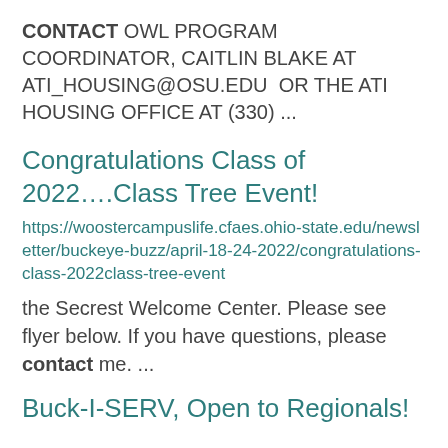CONTACT OWL PROGRAM COORDINATOR, CAITLIN BLAKE AT ATI_HOUSING@OSU.EDU OR THE ATI HOUSING OFFICE AT (330) ...
Congratulations Class of 2022….Class Tree Event!
https://woostercampuslife.cfaes.ohio-state.edu/newsletter/buckeye-buzz/april-18-24-2022/congratulations-class-2022class-tree-event
the Secrest Welcome Center. Please see flyer below. If you have questions, please contact me. ...
Buck-I-SERV, Open to Regionals!